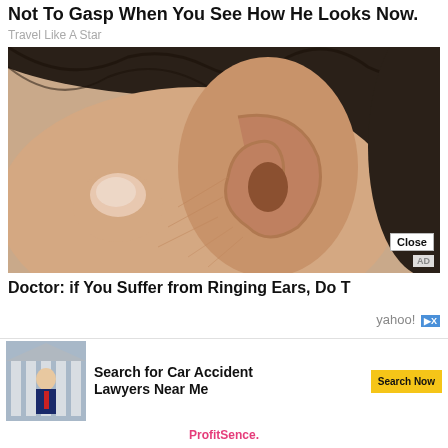Not To Gasp When You See How He Looks Now.
Travel Like A Star
[Figure (photo): Close-up photograph of a human ear with dark hair, showing a fingernail near the ear canal. Medical/health advertisement image.]
Doctor: if You Suffer from Ringing Ears, Do This
[Figure (photo): Advertisement banner: Search for Car Accident Lawyers Near Me. Yahoo powered. Shows a man in suit in front of courthouse building.]
ProfitSence.